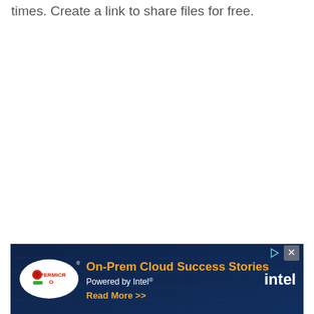times. Create a link to share files for free.
[Figure (illustration): Advertisement banner for Supermicro On-Prem Cloud Success Stories powered by Intel. Dark blue background with server/data center imagery. Features Supermicro logo (white oval with red/green graphic), orange headline text 'On-Prem Cloud Success Stories', white subtext 'Powered by Intel®', yellow 'Read More >>' text, Intel logo in white, and a small play/close button in top right.]